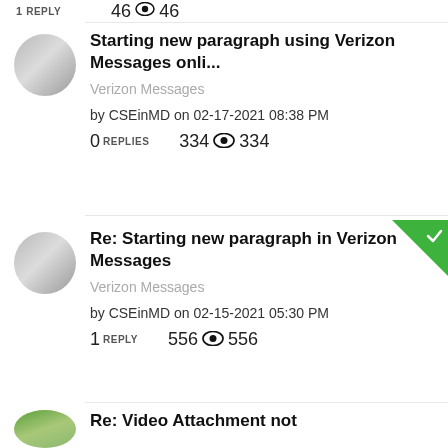1 REPLY   46 👁 46
Starting new paragraph using Verizon Messages onli...
Verizon Messages
by CSEinMD on 02-17-2021 08:38 PM
0 REPLIES   334 👁 334
Re: Starting new paragraph in Verizon Messages
Verizon Messages
by CSEinMD on 02-15-2021 05:30 PM
1 REPLY   556 👁 556
Re: Video Attachment not ...